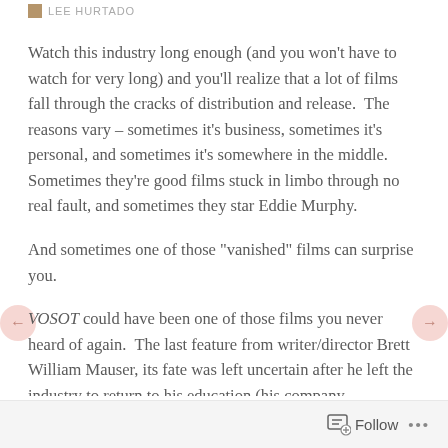LEE HURTADO
Watch this industry long enough (and you won’t have to watch for very long) and you’ll realize that a lot of films fall through the cracks of distribution and release.  The reasons vary – sometimes it’s business, sometimes it’s personal, and sometimes it’s somewhere in the middle.  Sometimes they’re good films stuck in limbo through no real fault, and sometimes they star Eddie Murphy.
And sometimes one of those “vanished” films can surprise you.
VOSOT could have been one of those films you never heard of again.  The last feature from writer/director Brett William Mauser, its fate was left uncertain after he left the industry to return to his education (his company
Follow ...